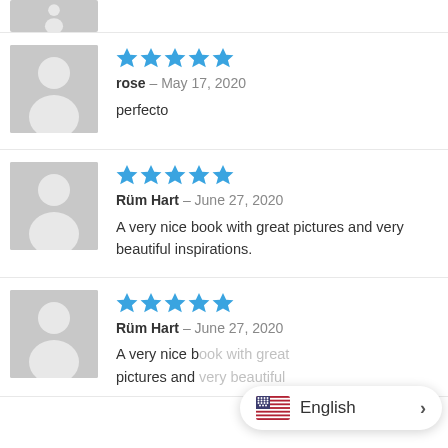[Figure (illustration): Partial view of avatar placeholder (cut off at top of page)]
[Figure (illustration): Gray default user avatar placeholder image]
rose – May 17, 2020
perfecto
[Figure (illustration): Gray default user avatar placeholder image]
Rüm Hart – June 27, 2020
A very nice book with great pictures and very beautiful inspirations.
[Figure (illustration): Gray default user avatar placeholder image]
Rüm Hart – June 27, 2020
A very nice b... pictures and...
[Figure (screenshot): Language switcher overlay showing US flag and English label with chevron]